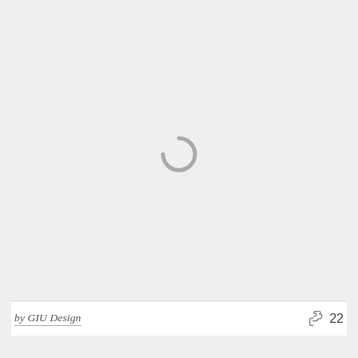[Figure (other): Large light gray image placeholder area with a loading spinner icon (partial circle arc) centered in the middle, shown in medium gray color.]
by GIU Design
22